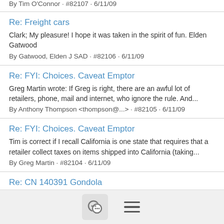By Tim O'Connor · #82107 · 6/11/09
Re: Freight cars
Clark; My pleasure! I hope it was taken in the spirit of fun. Elden Gatwood
By Gatwood, Elden J SAD · #82106 · 6/11/09
Re: FYI: Choices. Caveat Emptor
Greg Martin wrote: If Greg is right, there are an awful lot of retailers, phone, mail and internet, who ignore the rule. And...
By Anthony Thompson <thompson@...> · #82105 · 6/11/09
Re: FYI: Choices. Caveat Emptor
Tim is correct if I recall California is one state that requires that a retailer collect taxes on items shipped into California (taking...
By Greg Martin · #82104 · 6/11/09
Re: CN 140391 Gondola
Bob-- I should have added that this gon is coupled to an as-built version to the left of the car. Steve Lucas.
[Figure (screenshot): Bottom navigation bar with chat bubble icon button and hamburger menu icon]